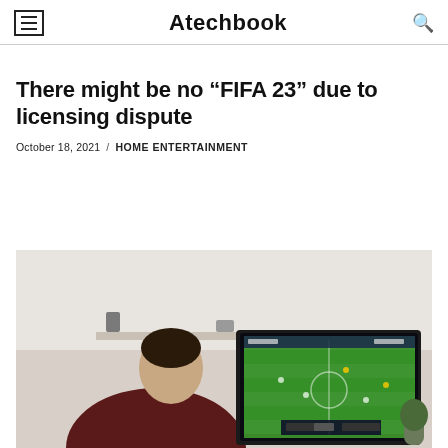Atechbook
There might be no “FIFA 23” due to licensing dispute
October 18, 2021 / HOME ENTERTAINMENT
[Figure (photo): Person sitting in front of a TV screen playing a FIFA football/soccer video game in a living room setting]